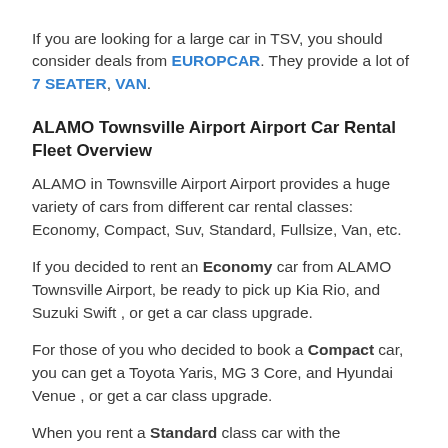If you are looking for a large car in TSV, you should consider deals from EUROPCAR. They provide a lot of 7 SEATER, VAN.
ALAMO Townsville Airport Airport Car Rental Fleet Overview
ALAMO in Townsville Airport Airport provides a huge variety of cars from different car rental classes: Economy, Compact, Suv, Standard, Fullsize, Van, etc.
If you decided to rent an Economy car from ALAMO Townsville Airport, be ready to pick up Kia Rio, and Suzuki Swift , or get a car class upgrade.
For those of you who decided to book a Compact car, you can get a Toyota Yaris, MG 3 Core, and Hyundai Venue , or get a car class upgrade.
When you rent a Standard class car with the...